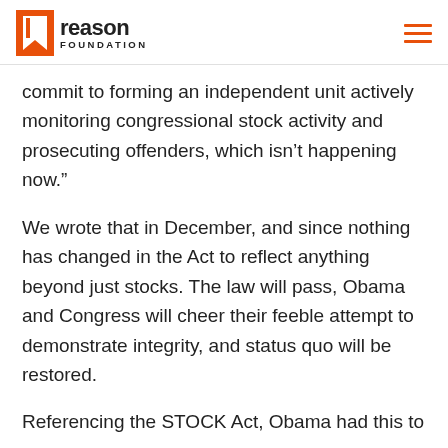Reason Foundation
commit to forming an independent unit actively monitoring congressional stock activity and prosecuting offenders, which isn’t happening now.”
We wrote that in December, and since nothing has changed in the Act to reflect anything beyond just stocks. The law will pass, Obama and Congress will cheer their feeble attempt to demonstrate integrity, and status quo will be restored.
Referencing the STOCK Act, Obama had this to say:
“After I sign this bill into law, Members of Congress will not be able to trade stocks based on nonpublic information they gleaned on Capitol Hill. It’s a good